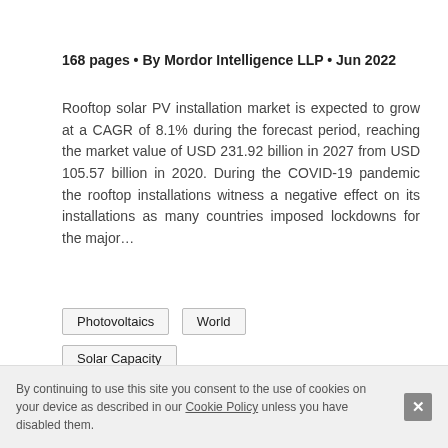168 pages • By Mordor Intelligence LLP • Jun 2022
Rooftop solar PV installation market is expected to grow at a CAGR of 8.1% during the forecast period, reaching the market value of USD 231.92 billion in 2027 from USD 105.57 billion in 2020. During the COVID-19 pandemic the rooftop installations witness a negative effect on its installations as many countries imposed lockdowns for the major...
Photovoltaics
World
Solar Capacity
Electricity Capacity
South Africa Solar
By continuing to use this site you consent to the use of cookies on your device as described in our Cookie Policy unless you have disabled them.